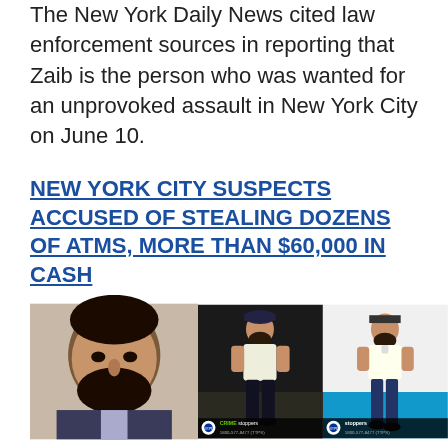The New York Daily News cited law enforcement sources in reporting that Zaib is the person who was wanted for an unprovoked assault in New York City on June 10.
NEW YORK CITY SUSPECTS ACCUSED OF STEALING DOZENS OF ATMS, MORE THAN $60,000 IN CASH
[Figure (photo): Three-panel photo composite: left panel shows a mugshot of a bearded man in a dark jacket; center panel shows a surveillance camera still of a bearded man in a white t-shirt and dark pants in a dark outdoor setting with a Crime Stoppers badge overlay (1800-577-8477 TTPS); right panel shows a surveillance camera still of a bearded man in a white shirt and dark jeans in a blue-floored indoor setting with a Crime Stoppers badge overlay (1800-577-8477 TTPS).]